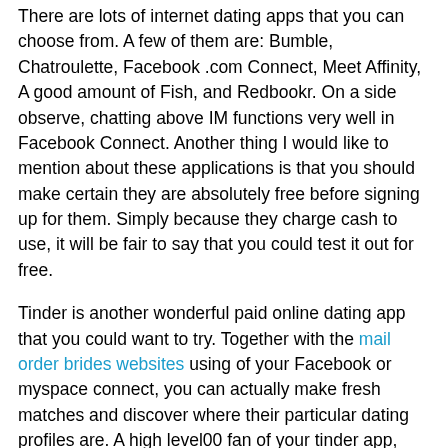There are lots of internet dating apps that you can choose from. A few of them are: Bumble, Chatroulette, Facebook .com Connect, Meet Affinity, A good amount of Fish, and Redbookr. On a side observe, chatting above IM functions very well in Facebook Connect. Another thing I would like to mention about these applications is that you should make certain they are absolutely free before signing up for them. Simply because they charge cash to use, it will be fair to say that you could test it out for free.
Tinder is another wonderful paid online dating app that you could want to try. Together with the mail order brides websites using of your Facebook or myspace connect, you can actually make fresh matches and discover where their particular dating profiles are. A high level00 fan of your tinder app, you may want to sign up for the top quality